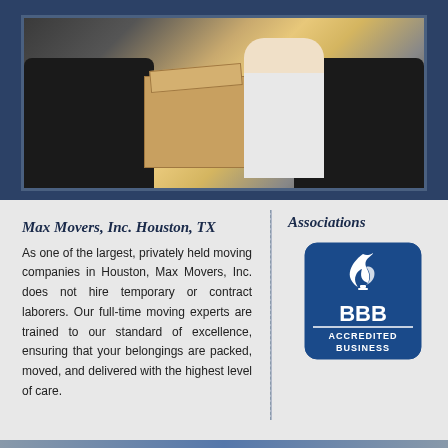[Figure (photo): Photo of movers carrying a cardboard box near a dark sofa, with food items visible on top of boxes. Moving scene in a home.]
Max Movers, Inc. Houston, TX
As one of the largest, privately held moving companies in Houston, Max Movers, Inc. does not hire temporary or contract laborers. Our full-time moving experts are trained to our standard of excellence, ensuring that your belongings are packed, moved, and delivered with the highest level of care.
Associations
[Figure (logo): BBB Accredited Business logo — blue flame/torch symbol with BBB letters and 'ACCREDITED BUSINESS' text below in a rounded rectangle badge.]